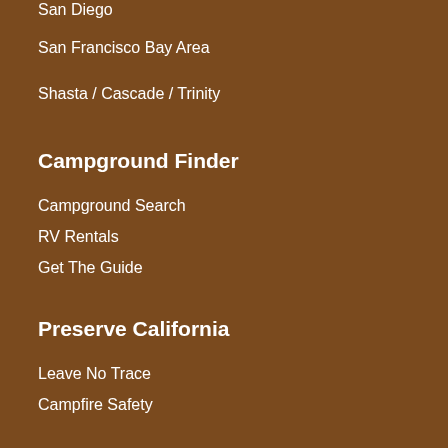San Diego
San Francisco Bay Area
Shasta / Cascade / Trinity
Campground Finder
Campground Search
RV Rentals
Get The Guide
Preserve California
Leave No Trace
Campfire Safety
Explore California
Camping Adventures
California Destinations
Featured
Camping Gear